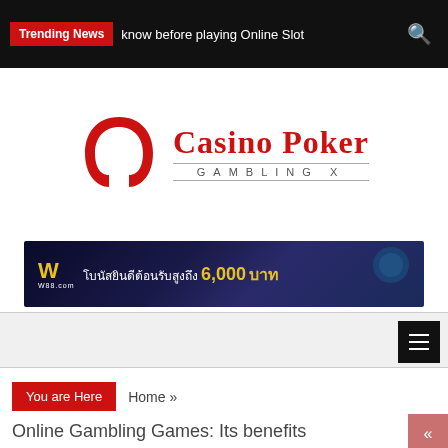Trending News | know before playing Online Slot
[Figure (logo): Casino Poker Gambling X logo with red horseshoe icon and serif text]
[Figure (infographic): W88.com banner ad in Thai: โบนัสยินดีต้อนรับสูงถึง 6,000 บาท]
You are Here  Home »  Online Gambling Games: Its benefits